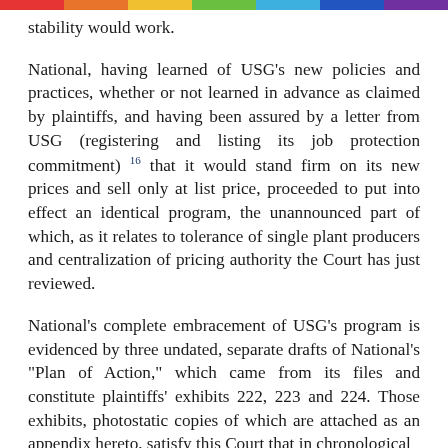stability would work.
National, having learned of USG's new policies and practices, whether or not learned in advance as claimed by plaintiffs, and having been assured by a letter from USG (registering and listing its job protection commitment) 16 that it would stand firm on its new prices and sell only at list price, proceeded to put into effect an identical program, the unannounced part of which, as it relates to tolerance of single plant producers and centralization of pricing authority the Court has just reviewed.
National's complete embracement of USG's program is evidenced by three undated, separate drafts of National's "Plan of Action," which came from its files and constitute plaintiffs' exhibits 222, 223 and 224. Those exhibits, photostatic copies of which are attached as an appendix hereto, satisfy this Court that in chronological